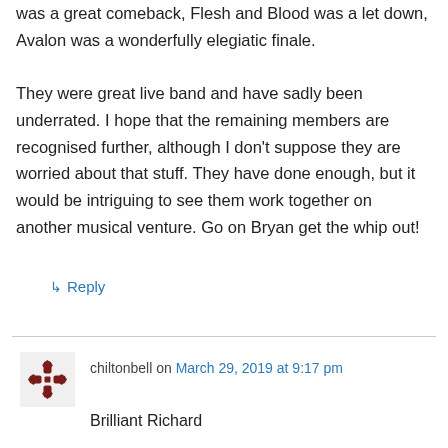was a great comeback, Flesh and Blood was a let down, Avalon was a wonderfully elegiatic finale.
They were great live band and have sadly been underrated. I hope that the remaining members are recognised further, although I don't suppose they are worried about that stuff. They have done enough, but it would be intriguing to see them work together on another musical venture. Go on Bryan get the whip out!
↳ Reply
chiltonbell on March 29, 2019 at 9:17 pm
Brilliant Richard

Sent from iPhone